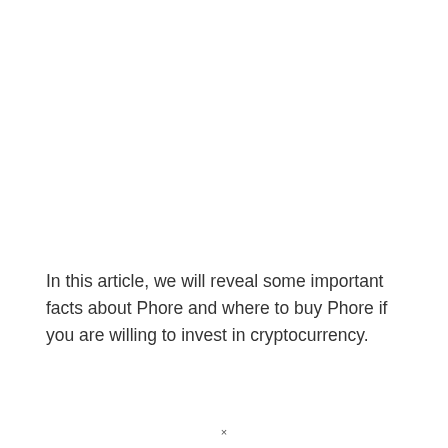In this article, we will reveal some important facts about Phore and where to buy Phore if you are willing to invest in cryptocurrency.
×